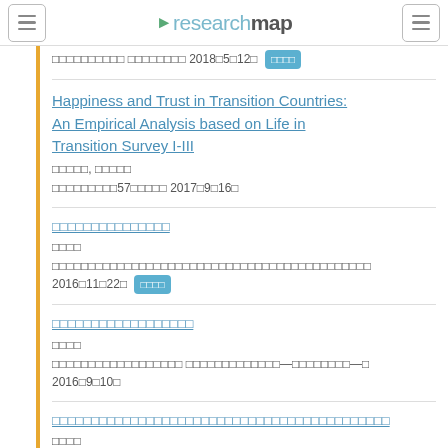researchmap
□□□□□□□□□□ □□□□□□□□ 2018□5□12□ [badge]
Happiness and Trust in Transition Countries: An Empirical Analysis based on Life in Transition Survey I-III
□□□□□, □□□□□
□□□□□□□□□57□□□□□ 2017□9□16□
□□□□□□□□□□□□□□□
□□□□
□□□□□□□□□□□□□□□□□□□□□□□□□□□□□□□□□□□□□□□□□□□□ 2016□11□22□ [badge]
□□□□□□□□□□□□□□□□□□
□□□□
□□□□□□□□□□□□□□□□□□ □□□□□□□□□□□□□—□□□□□□□□—□ 2016□9□10□
□□□□□□□□□□□□□□□□□□□□□□□□□□□□□□□□□□□□□□□□□□□
□□□□
□□□□□□□□55□□□□□ 2015□11□7□